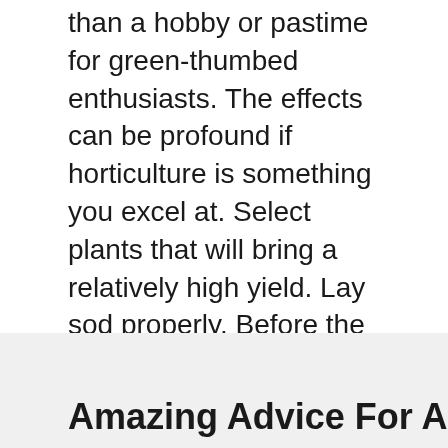than a hobby or pastime for green-thumbed enthusiasts. The effects can be profound if horticulture is something you excel at. Select plants that will bring a relatively high yield. Lay sod properly. Before the sod can be laid, you … Read more
[Figure (infographic): Social sharing icons: Facebook (F), Twitter (bird), Email (envelope), Share (plus sign), all in blue rounded square buttons]
Gardening
american cranberrybush, green plant, plant materials
Amazing Advice For A